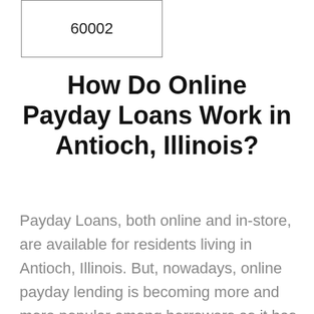| 60002 |
How Do Online Payday Loans Work in Antioch, Illinois?
Payday Loans, both online and in-store, are available for residents living in Antioch, Illinois. But, nowadays, online payday lending is becoming more and more popular among borrowers as it has